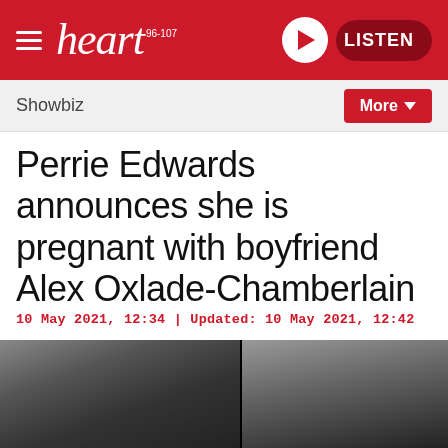heart 96-107 | LISTEN
Showbiz | More
Perrie Edwards announces she is pregnant with boyfriend Alex Oxlade-Chamberlain
10 May 2021, 12:34 | Updated: 10 May 2021, 12:42
[Figure (photo): Black and white split photo: left side shows Perrie Edwards and Alex Oxlade-Chamberlain together smiling, right side shows a pregnancy silhouette shot]